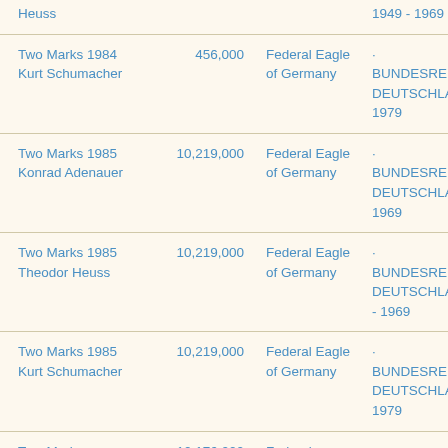| Name | Mintage | Obverse | Reverse |
| --- | --- | --- | --- |
| Heuss |  |  | 1949 - 1969 |
| Two Marks 1984 Kurt Schumacher | 456,000 | Federal Eagle of Germany | · BUNDESREPUBLIK DEUTSCHLAND · 1949 1979 |
| Two Marks 1985 Konrad Adenauer | 10,219,000 | Federal Eagle of Germany | · BUNDESREPUBLIK DEUTSCHLAND · 1949 1969 |
| Two Marks 1985 Theodor Heuss | 10,219,000 | Federal Eagle of Germany | · BUNDESREPUBLIK DEUTSCHLAND · 1949 - 1969 |
| Two Marks 1985 Kurt Schumacher | 10,219,000 | Federal Eagle of Germany | · BUNDESREPUBLIK DEUTSCHLAND · 1949 1979 |
| Two Marks | 10,176,000 | Federal | · |